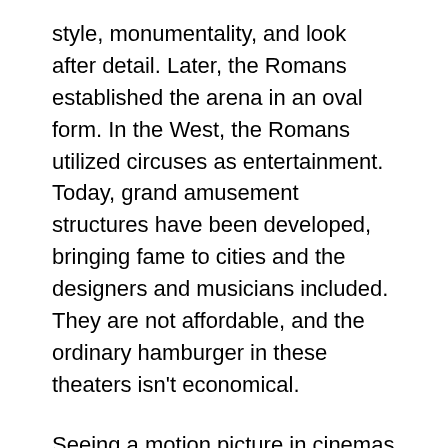style, monumentality, and look after detail. Later, the Romans established the arena in an oval form. In the West, the Romans utilized circuses as entertainment. Today, grand amusement structures have been developed, bringing fame to cities and the designers and musicians included. They are not affordable, and the ordinary hamburger in these theaters isn't economical.
Seeing a motion picture in cinemas is an exceptional means to launch stress, and also there are lots of methods to find enjoyment in motion pictures. A flick can be a fantastic way to spend high quality time with your family or friends. If you're looking for something different, attempt a polo video game or a tennis suit. Either way, it will